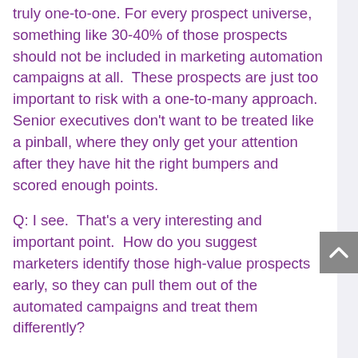truly one-to-one. For every prospect universe, something like 30-40% of those prospects should not be included in marketing automation campaigns at all.  These prospects are just too important to risk with a one-to-many approach. Senior executives don't want to be treated like a pinball, where they only get your attention after they have hit the right bumpers and scored enough points.
Q: I see.  That's a very interesting and important point.  How do you suggest marketers identify those high-value prospects early, so they can pull them out of the automated campaigns and treat them differently?
A: At the beginning you need to use your knowledge of the market, and some intuition, to segment the market into logical homogenous groups. Once